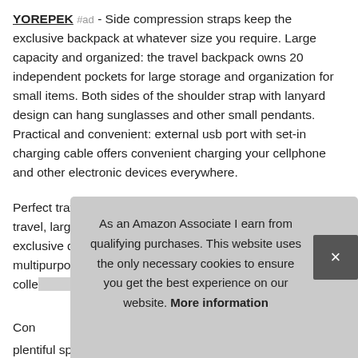YOREPEK #ad - Side compression straps keep the exclusive backpack at whatever size you require. Large capacity and organized: the travel backpack owns 20 independent pockets for large storage and organization for small items. Both sides of the shoulder strap with lanyard design can hang sunglasses and other small pendants. Practical and convenient: external usb port with set-in charging cable offers convenient charging your cellphone and other electronic devices everywhere.
Perfect travel gifts for men women who like international travel, large school backpack for Teen Boys/Girls, camping, exclusive designed for airplane travel. Tsa approved and multipurpose: at checkpoint, large laptop bag or spacious colle[obscured]...
Con[obscured]...
plentiful sponge pad help relieve the stress from your...
As an Amazon Associate I earn from qualifying purchases. This website uses the only necessary cookies to ensure you get the best experience on our website. More information